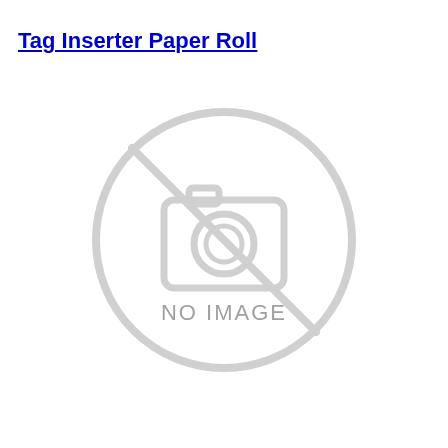Tag Inserter Paper Roll
[Figure (illustration): A 'NO IMAGE' placeholder graphic: a circle outline with a camera icon and a diagonal slash through it, with the text 'NO IMAGE' in the center. All rendered in light gray.]